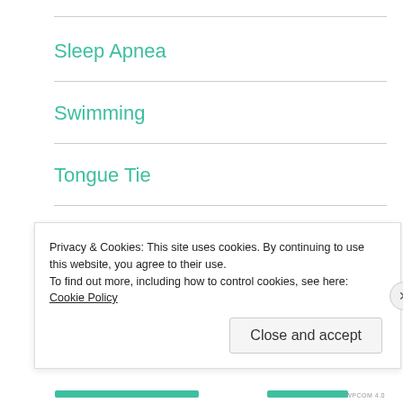Sleep Apnea
Swimming
Tongue Tie
Uncategorized
Walking
Privacy & Cookies: This site uses cookies. By continuing to use this website, you agree to their use.
To find out more, including how to control cookies, see here: Cookie Policy
Close and accept